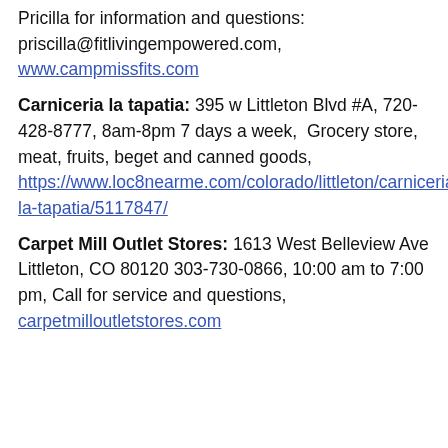Pricilla for information and questions: priscilla@fitlivingempowered.com, www.campmissfits.com
Carniceria la tapatia: 395 w Littleton Blvd #A, 720-428-8777, 8am-8pm 7 days a week, Grocery store, meat, fruits, beget and canned goods, https://www.loc8nearme.com/colorado/littleton/carniceria-la-tapatia/5117847/
Carpet Mill Outlet Stores: 1613 West Belleview Ave Littleton, CO 80120 303-730-0866, 10:00 am to 7:00 pm, Call for service and questions, carpetmilloutletstores.com